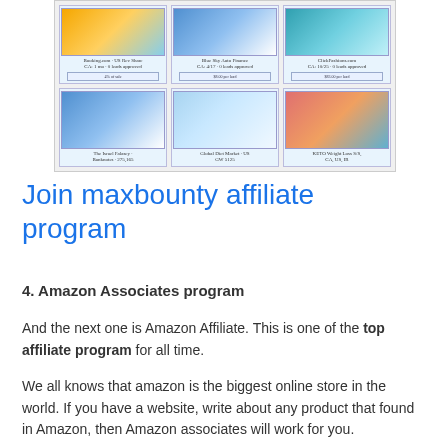[Figure (screenshot): Screenshot of MaxBounty affiliate program interface showing a grid of 6 affiliate offers including Booking.com, Blue Sky Auto Finance, ClickFashions.com, The Israel Falasey Banknotes, Global Diet Market, and KETO Weight Loss, with commission rates displayed]
Join maxbounty affiliate program
4. Amazon Associates program
And the next one is Amazon Affiliate. This is one of the top affiliate program for all time.
We all knows that amazon is the biggest online store in the world. If you have a website, write about any product that found in Amazon, then Amazon associates will work for you.